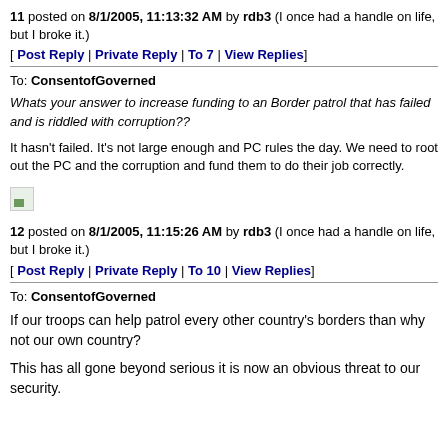11 posted on 8/1/2005, 11:13:32 AM by rdb3 (I once had a handle on life, but I broke it.)
[ Post Reply | Private Reply | To 7 | View Replies]
To: ConsentofGoverned
Whats your answer to increase funding to an Border patrol that has failed and is riddled with corruption??
It hasn't failed. It's not large enough and PC rules the day. We need to root out the PC and the corruption and fund them to do their job correctly.
[Figure (other): Broken image placeholder]
12 posted on 8/1/2005, 11:15:26 AM by rdb3 (I once had a handle on life, but I broke it.)
[ Post Reply | Private Reply | To 10 | View Replies]
To: ConsentofGoverned
If our troops can help patrol every other country's borders than why not our own country?
This has all gone beyond serious it is now an obvious threat to our security.